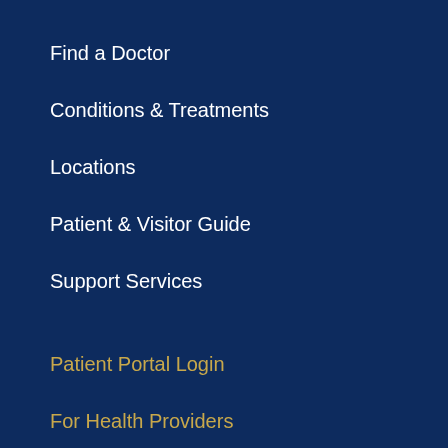Find a Doctor
Conditions & Treatments
Locations
Patient & Visitor Guide
Support Services
Patient Portal Login
For Health Providers
Maps & Directions
Contact Us
About Us